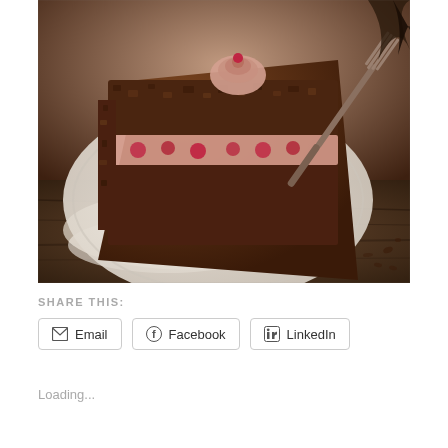[Figure (photo): Book cover photo showing a slice of chocolate cake with raspberry cream filling on a white plate, with a fork beside it. Text on cover reads: MANI NIALL / Photography by / Mark McLane. Dark wooden background beneath.]
SHARE THIS:
Email
Facebook
LinkedIn
Loading...